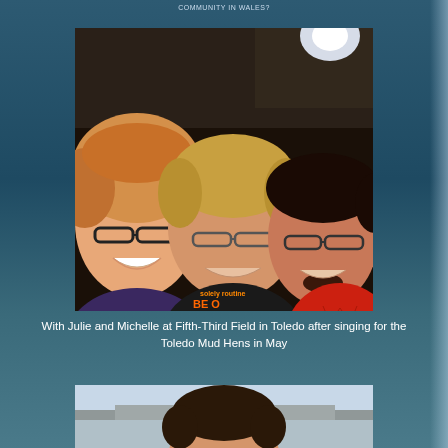COMMUNITY IN WALES?
[Figure (photo): Selfie of three people (two women and a man) smiling. The person on the left is a young woman with short reddish-blonde hair and dark-rimmed glasses. The center person is a middle-aged woman with short blonde hair and glasses wearing a dark shirt that reads 'solely routine BE O...'. The person on the right is a young man with dark hair, glasses, a goatee, wearing a red shirt.]
With Julie and Michelle at Fifth-Third Field in Toledo after singing for the Toledo Mud Hens in May
[Figure (photo): Partial photo of a man's face (forehead and top of head with dark hair) with a stadium/outdoor venue visible in the background.]